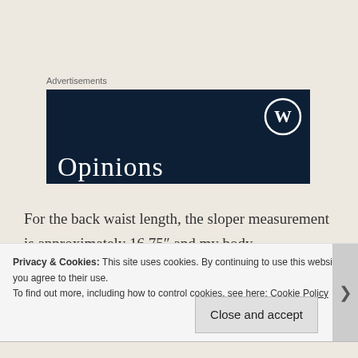Advertisements
[Figure (screenshot): Dark navy blue advertisement banner with WordPress logo (circle W) in upper right and 'Opinions' text in white serif font at bottom left]
For the back waist length, the sloper measurement is approximately 16.75" and my body measurement is 17", so I'm not going to make any adjustments here.
Privacy & Cookies: This site uses cookies. By continuing to use this website, you agree to their use.
To find out more, including how to control cookies, see here: Cookie Policy
Close and accept